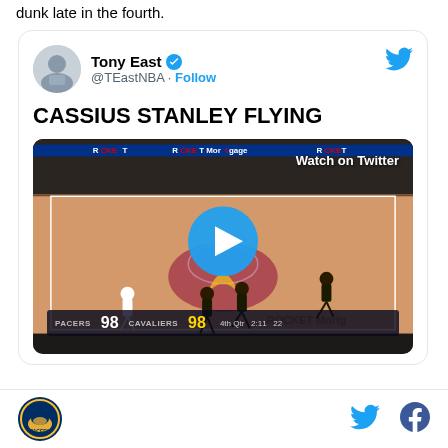dunk late in the fourth.
[Figure (screenshot): Tweet from @TEastNBA (Tony East, verified) with text 'CASSIUS STANLEY FLYING' and an embedded video thumbnail showing a basketball game at Rocket Mortgage FieldHouse between the Pacers and Cavaliers, tied 98-98 in the 4th quarter with 2:11 remaining. The video shows a play button overlay and 'Watch on Twitter' label.]
[Figure (logo): Indiana Pacers logo in circular form at bottom left]
[Figure (logo): Twitter bird icon at bottom right]
[Figure (logo): Facebook 'f' icon at bottom right]